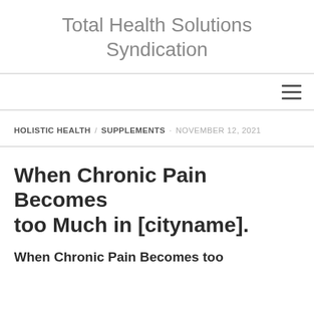Total Health Solutions Syndication
HOLISTIC HEALTH / SUPPLEMENTS · NOVEMBER 12, 2021
When Chronic Pain Becomes too Much in [cityname].
When Chronic Pain Becomes too